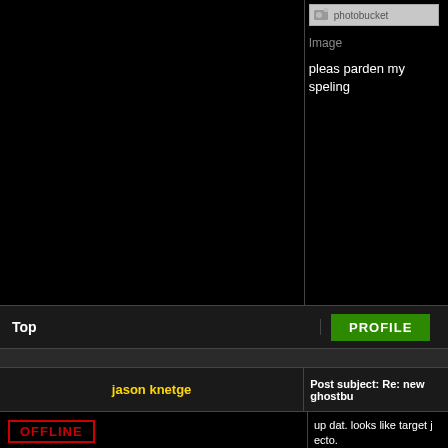[Figure (screenshot): Forum post screenshot showing photobucket image placeholder at top right, image broken placeholder, and text 'pleas parden my speling']
pleas parden my speling
Top
[Figure (screenshot): Green PROFILE button]
jason knetge
Post subject: Re: new ghostbu
[Figure (illustration): OFFLINE badge with red border]
I Have No Life
★★★★★
[Figure (illustration): Anime/comic style avatar showing ghostbusters character with proton pack robot]
up dat. looks like target j ecto.
[Figure (screenshot): Sorry. This Image Is currently Unavailable - photobucket placeholder]
Image